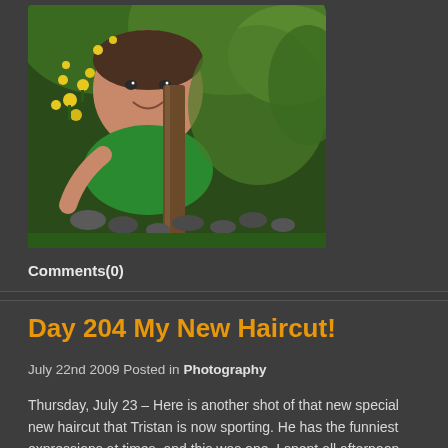[Figure (photo): A child smiling among yellow flowers and green plants, peering from behind a small tree trunk with rocks on the ground]
Comments(0)
Day 204 My New Haircut!
July 22nd 2009 Posted in Photography
Thursday, July 23 – Here is another shot of that new special new haircut that Tristan is now sporting. He has the funniest expressions at times, and this was one. I spent all afternoon judging cards and scrapbooking at the fair. There were lovely entries and